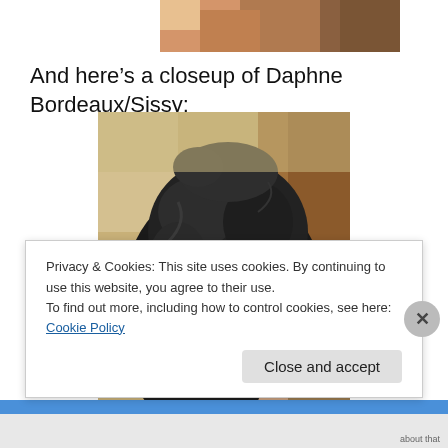[Figure (photo): Partial top photo showing what appears to be a dog or pet on a colorful background, cropped at top of page]
And here’s a closeup of Daphne Bordeaux/Sissy:
[Figure (photo): Close-up photograph of a small dark fluffy dog (Daphne Bordeaux/Sissy) with shaggy black/dark brown fur, looking toward camera, indoor setting with furniture visible]
Privacy & Cookies: This site uses cookies. By continuing to use this website, you agree to their use.
To find out more, including how to control cookies, see here: Cookie Policy
Close and accept